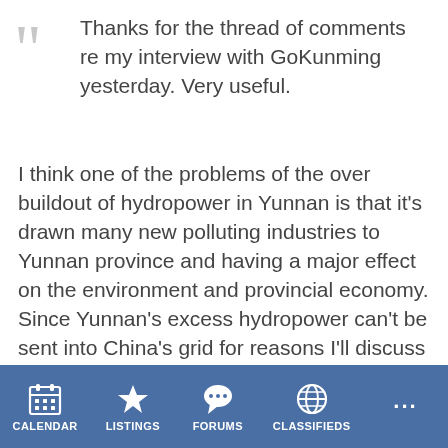Thanks for the thread of comments re my interview with GoKunming yesterday. Very useful.
I think one of the problems of the over buildout of hydropower in Yunnan is that it's drawn many new polluting industries to Yunnan province and having a major effect on the environment and provincial economy. Since Yunnan's excess hydropower can't be sent into China's grid for reasons I'll discuss below, Yunnan's hydropower developers gang up with the provincial government to attract outside heavy industry investors to build big plants all over the province - given the low overhead electricity costs. This is taking a toll on the province's
CALENDAR   LISTINGS   FORUMS   CLASSIFIEDS   ...